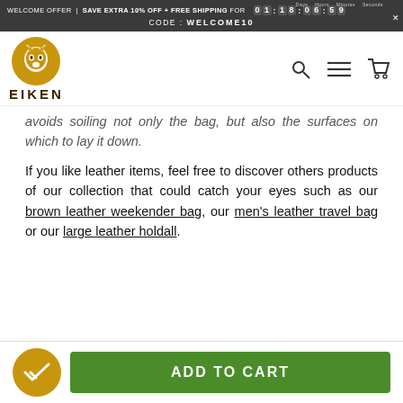WELCOME OFFER | SAVE EXTRA 10% OFF + FREE SHIPPING FOR 01:18:06:59 CODE: WELCOME10
[Figure (logo): Eiken brand logo — golden circle with white wolf/cat silhouette, text EIKEN below in dark brown bold letters]
avoids soiling not only the bag, but also the surfaces on which to lay it down.
If you like leather items, feel free to discover others products of our collection that could catch your eyes such as our brown leather weekender bag, our men's leather travel bag or our large leather holdall.
ADD TO CART